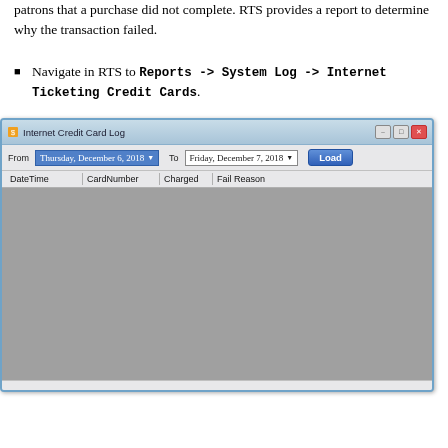patrons that a purchase did not complete. RTS provides a report to determine why the transaction failed.
Navigate in RTS to Reports -> System Log -> Internet Ticketing Credit Cards.
[Figure (screenshot): Internet Credit Card Log window showing From date (Thursday, December 6, 2018), To date (Friday, December 7, 2018), Load button, and a grid with columns: DateTime, CardNumber, Charged, Fail Reason. The grid body is empty/gray.]